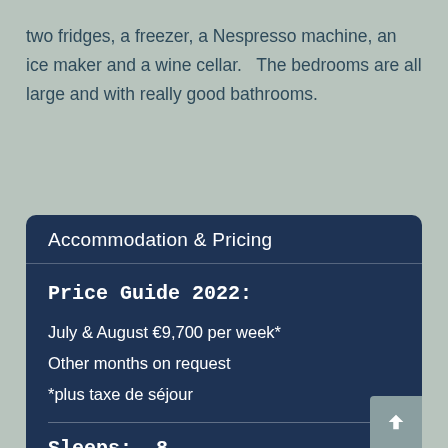two fridges, a freezer, a Nespresso machine, an ice maker and a wine cellar.   The bedrooms are all large and with really good bathrooms.
Accommodation & Pricing
Price Guide 2022:
July & August €9,700 per week*
Other months on request
*plus taxe de séjour
Sleeps:  8